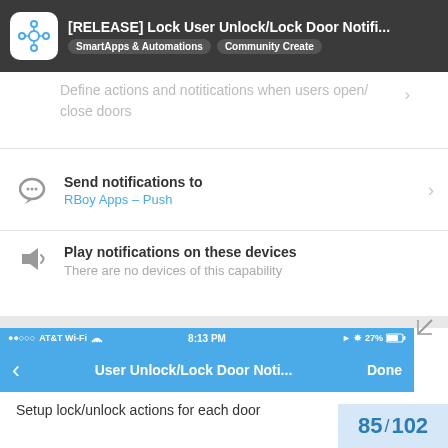[RELEASE] Lock User Unlock/Lock Door Notifi... SmartApps & Automations Community Created
Define actions and notitications when users open/close doors
Send notifications to
RBoy Apps – Push
Play notifications on these devices
There are no devices of this capability
[Figure (screenshot): iOS app screenshot showing User Unlock/Lock Door Noti... header with Done button, status bar showing AT&T Wi-Fi 8:13 PM 27% battery]
Setup lock/unlock actions for each door
85 / 102